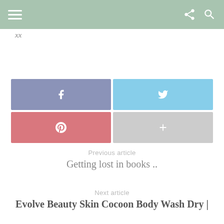Navigation bar with hamburger menu and share/search icons
XX
[Figure (infographic): Four social sharing buttons in a 2x2 grid: Facebook (blue-grey), Twitter (light blue), Pinterest (pink/red), and a Google+ or add button (light grey). Each button contains the respective brand icon in white.]
Previous article
Getting lost in books ..
Next article
Evolve Beauty Skin Cocoon Body Wash Dry |